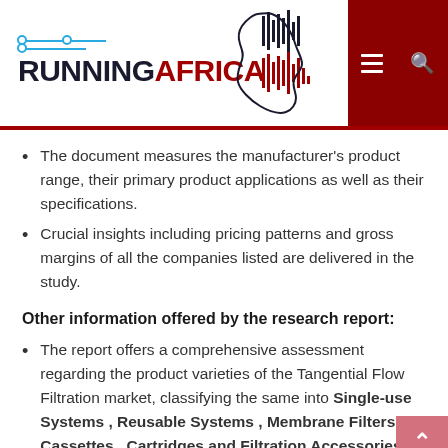RUNNING AFRICA
The document measures the manufacturer's product range, their primary product applications as well as their specifications.
Crucial insights including pricing patterns and gross margins of all the companies listed are delivered in the study.
Other information offered by the research report:
The report offers a comprehensive assessment regarding the product varieties of the Tangential Flow Filtration market, classifying the same into Single-use Systems , Reusable Systems , Membrane Filters , Cassettes , Cartridges and Filtration Accessories.